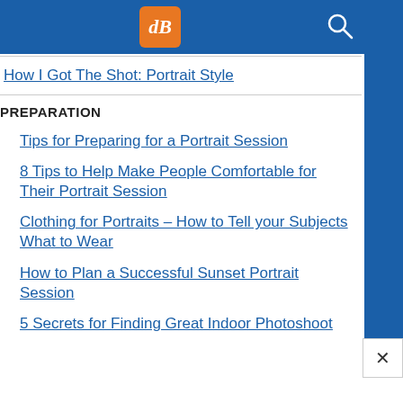[Figure (logo): dPS logo - orange rounded square with italic dB letters in white]
How I Got The Shot: Portrait Style
PREPARATION
Tips for Preparing for a Portrait Session
8 Tips to Help Make People Comfortable for Their Portrait Session
Clothing for Portraits – How to Tell your Subjects What to Wear
How to Plan a Successful Sunset Portrait Session
5 Secrets for Finding Great Indoor Photoshoot